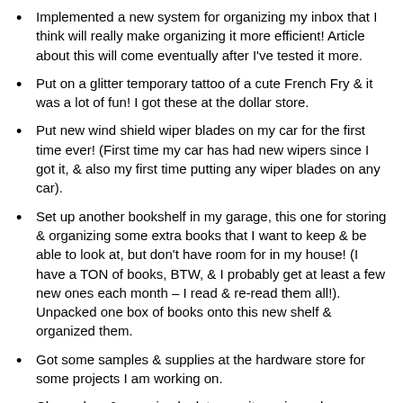Implemented a new system for organizing my inbox that I think will really make organizing it more efficient! Article about this will come eventually after I've tested it more.
Put on a glitter temporary tattoo of a cute French Fry & it was a lot of fun! I got these at the dollar store.
Put new wind shield wiper blades on my car for the first time ever! (First time my car has had new wipers since I got it, & also my first time putting any wiper blades on any car).
Set up another bookshelf in my garage, this one for storing & organizing some extra books that I want to keep & be able to look at, but don't have room for in my house! (I have a TON of books, BTW, & I probably get at least a few new ones each month – I read & re-read them all!). Unpacked one box of books onto this new shelf & organized them.
Got some samples & supplies at the hardware store for some projects I am working on.
Cleaned up & organized a lot more items in my home, especially in my art area. Shredded & recycled a lot of stuff